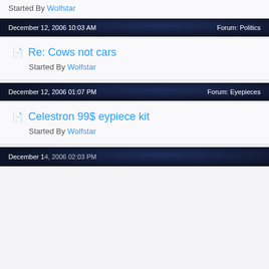Started By Wolfstar
December 12, 2006 10:03 AM    Forum: Politics
Re: Cows not cars
Started By Wolfstar
December 12, 2006 01:07 PM    Forum: Eyepieces
Celestron 99$ eypiece kit
Started By Wolfstar
December 14, 2006 02:03 PM